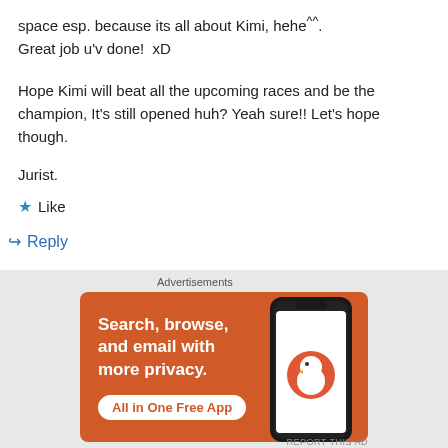space esp. because its all about Kimi, hehe^^. Great job u'v done!  xD
Hope Kimi will beat all the upcoming races and be the champion, It's still opened huh? Yeah sure!! Let's hope though.
Jurist.
★ Like
↪ Reply
Advertisements
[Figure (screenshot): DuckDuckGo advertisement banner: orange background, text 'Search, browse, and email with more privacy. All in One Free App' with white button, and a phone showing the DuckDuckGo app logo on the right.]